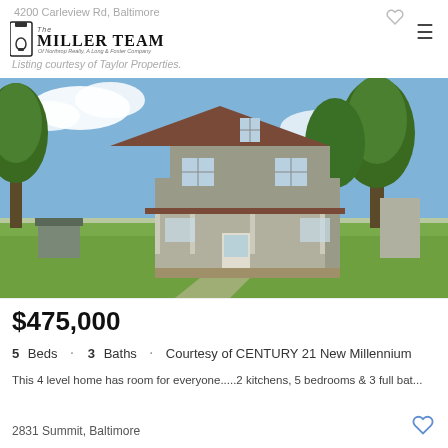4200 Carleview Rd, Baltimore
[Figure (logo): The Miller Team of Northrop Realty, A Long & Foster Company logo with door knocker icon]
Listing courtesy of Taylor Properties.
[Figure (photo): Exterior photo of a two-story gray farmhouse with covered front porch, brown roof, large trees, green lawn, and small outbuilding on left. Blue sky with clouds.]
$475,000
5 Beds · 3 Baths · Courtesy of CENTURY 21 New Millennium
This 4 level home has room for everyone.....2 kitchens, 5 bedrooms & 3 full bat...
2831 Summit, Baltimore